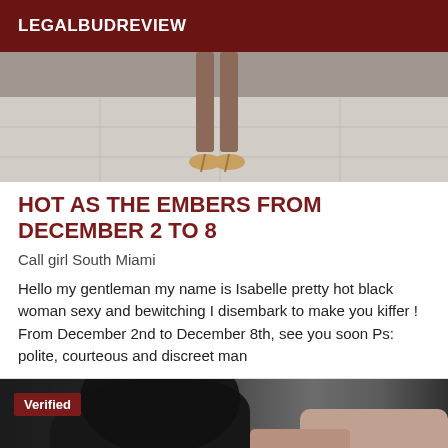LEGALBUDREVIEW
[Figure (photo): Photo showing legs and high-heel shoes on a tiled floor]
HOT AS THE EMBERS FROM DECEMBER 2 TO 8
Call girl South Miami
Hello my gentleman my name is Isabelle pretty hot black woman sexy and bewitching I disembark to make you kiffer ! From December 2nd to December 8th, see you soon Ps: polite, courteous and discreet man
[Figure (photo): Photo of a woman with dark hair, partially visible, with a Verified badge overlay]